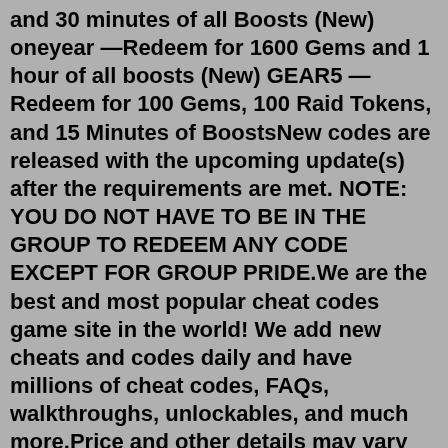and 30 minutes of all Boosts (New) oneyear —Redeem for 1600 Gems and 1 hour of all boosts (New) GEAR5 —Redeem for 100 Gems, 100 Raid Tokens, and 15 Minutes of BoostsNew codes are released with the upcoming update(s) after the requirements are met. NOTE: YOU DO NOT HAVE TO BE IN THE GROUP TO REDEEM ANY CODE EXCEPT FOR GROUP PRIDE.We are the best and most popular cheat codes game site in the world! We add new cheats and codes daily and have millions of cheat codes, FAQs, walkthroughs, unlockables, and much more.Price and other details may vary based on product size and color. VINLAND SAGA. 2019. 4.7 out of 5 stars 1,250. Prime Video. ... Anime Lover Gifts for Girls Anime Two Sided Printing Pillow Cover Anime Lover Gift Just A Girl Who Really Loves Anime, Anime Lover Gift Japan Anime Fans Gift Throw Pillow, 18"x 18"(Black) ... code GIFTWRAP50. Get it ...Codes are redeemables published on the BloxByte Games Twitter and in the official BloxByte Games Discord Server. They can b